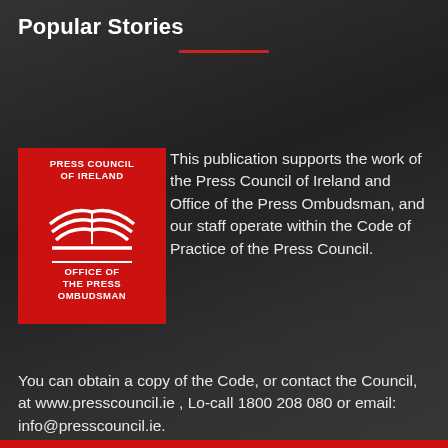Popular Stories
[Figure (logo): Press Council of Ireland and Office of the Press Ombudsman red logo with open-book graphic]
This publication supports the work of the Press Council of Ireland and Office of the Press Ombudsman, and our staff operate within the Code of Practice of the Press Council.

You can obtain a copy of the Code, or contact the Council, at www.presscouncil.ie , Lo-call 1800 208 080 or email: info@presscouncil.ie.